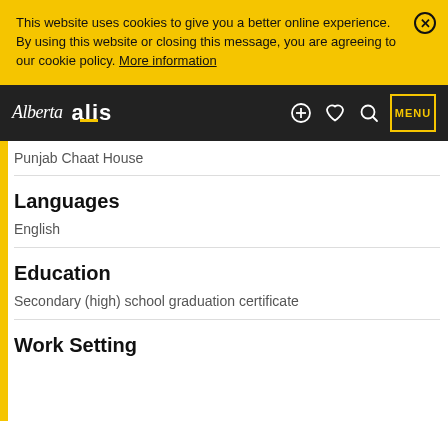This website uses cookies to give you a better online experience. By using this website or closing this message, you are agreeing to our cookie policy. More information
Alberta alis — MENU
Punjab Chaat House
Languages
English
Education
Secondary (high) school graduation certificate
Work Setting